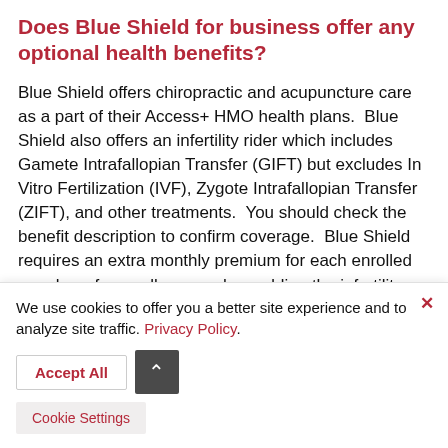Does Blue Shield for business offer any optional health benefits?
Blue Shield offers chiropractic and acupuncture care as a part of their Access+ HMO health plans.  Blue Shield also offers an infertility rider which includes Gamete Intrafallopian Transfer (GIFT) but excludes In Vitro Fertilization (IVF), Zygote Intrafallopian Transfer (ZIFT), and other treatments.  You should check the benefit description to confirm coverage.  Blue Shield requires an extra monthly premium for each enrolled member of a small group when adding the infertility rider.  Blue Shield of California also
We use cookies to offer you a better site experience and to analyze site traffic. Privacy Policy.  Accept All  Cookie Settings